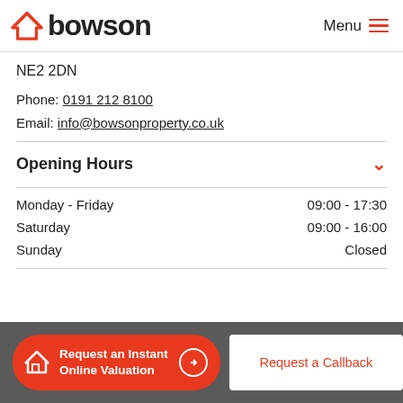[Figure (logo): Bowson property logo with orange house icon and bold dark text 'bowson']
Menu
NE2 2DN
Phone: 0191 212 8100
Email: info@bowsonproperty.co.uk
Opening Hours
| Day | Hours |
| --- | --- |
| Monday - Friday | 09:00 - 17:30 |
| Saturday | 09:00 - 16:00 |
| Sunday | Closed |
Request an Instant Online Valuation
Request a Callback